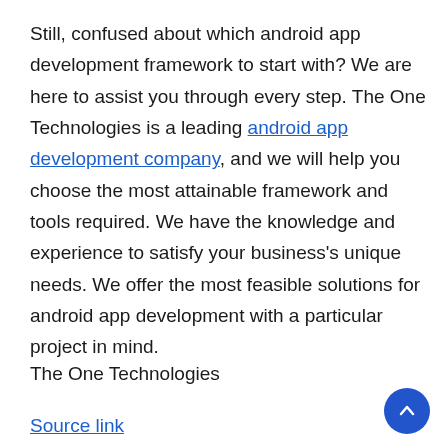Still, confused about which android app development framework to start with? We are here to assist you through every step. The One Technologies is a leading android app development company, and we will help you choose the most attainable framework and tools required. We have the knowledge and experience to satisfy your business's unique needs. We offer the most feasible solutions for android app development with a particular project in mind.
The One Technologies
Source link